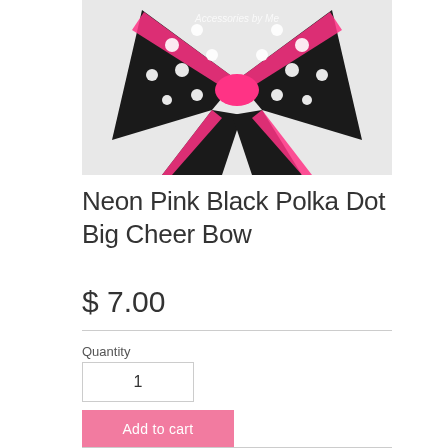[Figure (photo): Photo of a neon pink and black polka dot big cheer bow with white dots on the black fabric portions and neon pink trim. Watermark text reads 'Accessories by Me' in white.]
Neon Pink Black Polka Dot Big Cheer Bow
$ 7.00
Quantity
1
Add to cart